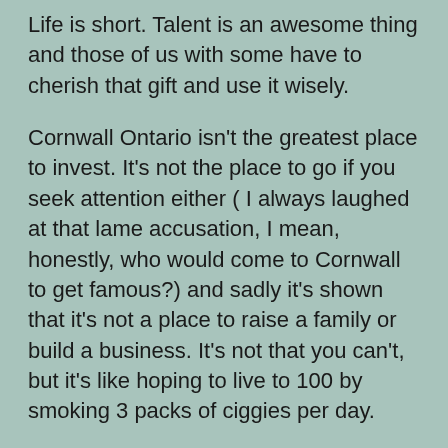Life is short.  Talent is an awesome thing and those of us with some have to cherish that gift and use it wisely.
Cornwall Ontario isn't the greatest place to invest.  It's not the place to go if you seek attention either ( I always laughed at that lame accusation, I mean, honestly, who would come to Cornwall to get famous?) and sadly it's shown that it's not a place to raise a family or build a business.   It's not that you can't, but it's like hoping to live to 100 by smoking 3 packs of ciggies per day.
Like the teens in Who's Afraid of Roger Rabbit